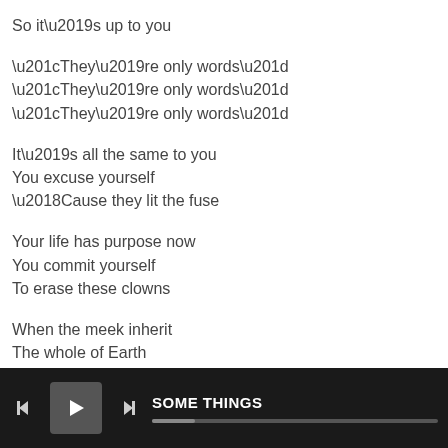So it’s up to you
“They’re only words”
“They’re only words”
“They’re only words”
It’s all the same to you
You excuse yourself
‘Cause they lit the fuse
Your life has purpose now
You commit yourself
To erase these clowns
When the meek inherit
The whole of Earth
You’ll be claiming back
All the years of hurt
[Figure (screenshot): Music player bar at the bottom showing skip-back, play, skip-forward controls with song title SOME THINGS and a progress bar]